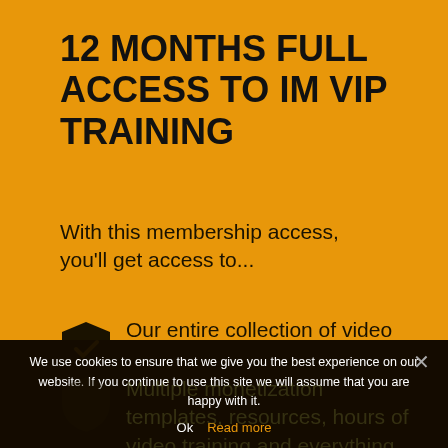12 MONTHS FULL ACCESS TO IM VIP TRAINING
With this membership access, you'll get access to...
Our entire collection of video training courses covering 15 topics!
Multiple monetization templates, resources, hours of video training and everything you need to build a successful
We use cookies to ensure that we give you the best experience on our website. If you continue to use this site we will assume that you are happy with it.